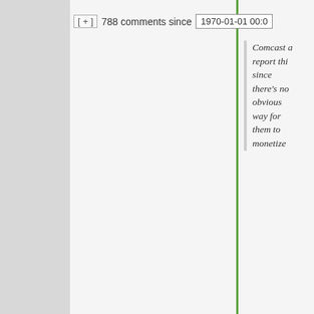[ + ]  788 comments since  1970-01-01 00:0
Comcast a report thi since there's no obvious way for them to monetize
The “incentive” is national security b other government government hack. Also, note that un law the governme legally demand w warrant any infor you sent to a thin